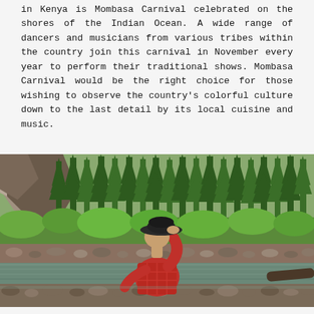in Kenya is Mombasa Carnival celebrated on the shores of the Indian Ocean. A wide range of dancers and musicians from various tribes within the country join this carnival in November every year to perform their traditional shows. Mombasa Carnival would be the right choice for those wishing to observe the country's colorful culture down to the last detail by its local cuisine and music.
[Figure (photo): A person wearing a wide-brimmed dark hat and red plaid shirt, viewed from behind, standing near a rocky river with tall evergreen trees and rocky cliffs in the background.]